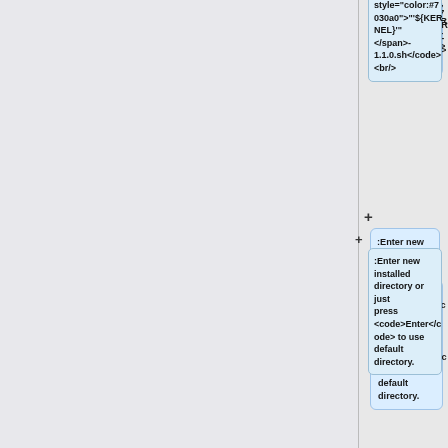style="color:#7030a0">"'${KERNEL}'"</span>-1.1.0.sh</code><br/>
:Enter new installed directory or just press <code>Enter</code> to use default directory.
:While <code>Proceed [y/n]?</code> shows up, please enter the correct one.
:Waiting for the SDK installed